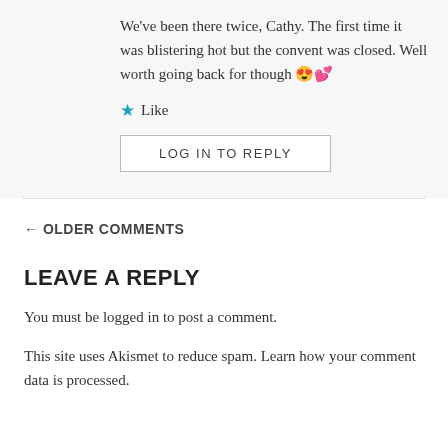We've been there twice, Cathy. The first time it was blistering hot but the convent was closed. Well worth going back for though 😍💕
★ Like
LOG IN TO REPLY
← OLDER COMMENTS
LEAVE A REPLY
You must be logged in to post a comment.
This site uses Akismet to reduce spam. Learn how your comment data is processed.